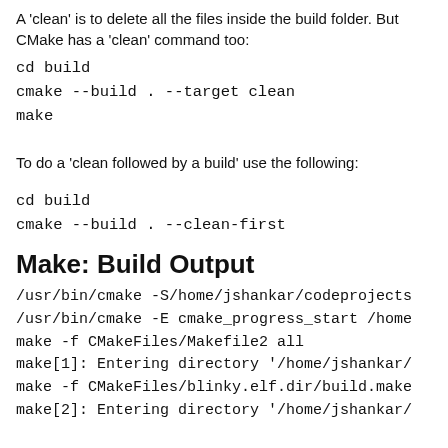A 'clean' is to delete all the files inside the build folder. But CMake has a 'clean' command too:
cd build
cmake --build . --target clean
make
To do a 'clean followed by a build' use the following:
cd build
cmake --build . --clean-first
Make: Build Output
/usr/bin/cmake -S/home/jshankar/codeprojects
/usr/bin/cmake -E cmake_progress_start /home
make -f CMakeFiles/Makefile2 all
make[1]: Entering directory '/home/jshankar/
make -f CMakeFiles/blinky.elf.dir/build.make
make[2]: Entering directory '/home/jshankar/